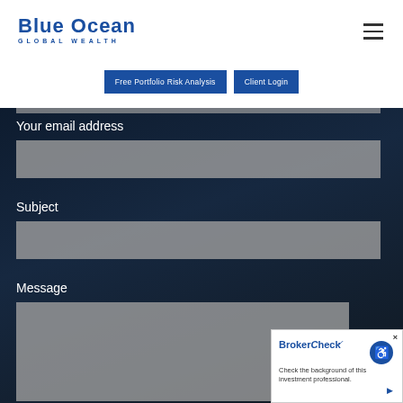[Figure (logo): Blue Ocean Global Wealth logo with text 'Blue Ocean' in bold blue and 'GLOBAL WEALTH' in spaced blue letters below]
[Figure (other): Hamburger menu icon (three horizontal lines) in top right corner]
Free Portfolio Risk Analysis
Client Login
Your email address
Subject
Message
[Figure (other): BrokerCheck widget in bottom right corner showing BrokerCheck logo, accessibility icon, and text 'Check the background of this investment professional.']